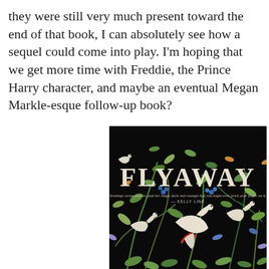they were still very much present toward the end of that book, I can absolutely see how a sequel could come into play. I'm hoping that we get more time with Freddie, the Prince Harry character, and maybe an eventual Megan Markle-esque follow-up book?
[Figure (illustration): Book cover of 'FLYAWAY' with dark black background decorated with colorful illustrated birds and foliage. Large serif title 'FLYAWAY' in cream/off-white text. Blurb below reads: "Jennings' prose dazzles, and her magic feels real enough that you might even prick your finger on it." — KELLY LINK]